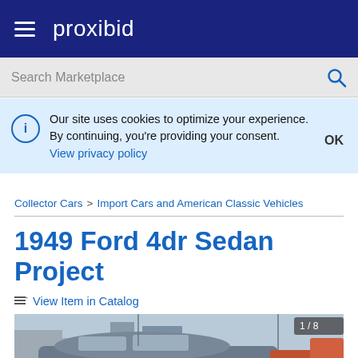proxibid
Search Marketplace
Our site uses cookies to optimize your experience. By continuing, you're providing your consent. View privacy policy
OK
Collector Cars > Import Cars and American Classic Vehicles
1949 Ford 4dr Sedan Project
View Item in Catalog
[Figure (photo): Photo of a 1949 Ford 4dr Sedan, showing the top and side of the car with other vehicles in background. Badge shows 1/8.]